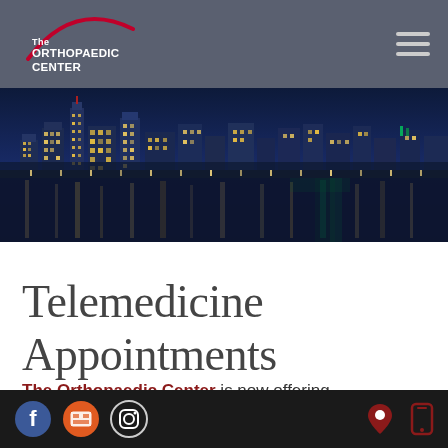The Orthopaedic Center
[Figure (photo): Night city skyline reflected over water with blue and gold lights]
Telemedicine Appointments
The Orthopaedic Center is now offering
Telemedicine appointments for a number of
Social icons: Facebook, Store, Instagram | Location, Phone icons